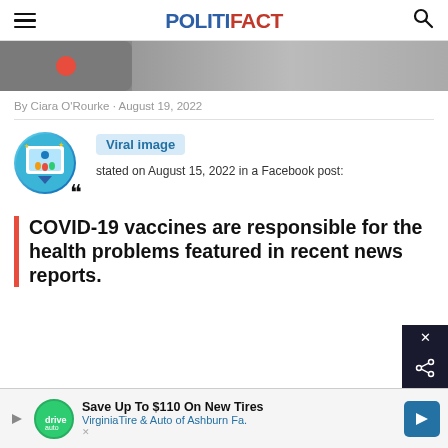POLITIFACT
[Figure (photo): Partial view of a phone/device with a red record button on a gray background]
By Ciara O'Rourke · August 19, 2022
[Figure (illustration): Circular avatar icon with social media / viral image graphic and quote marks]
Viral image stated on August 15, 2022 in a Facebook post:
COVID-19 vaccines are responsible for the health problems featured in recent news reports.
[Figure (screenshot): Advertisement banner: Save Up To $110 On New Tires — VirginiaTire & Auto of Ashburn Fa.]